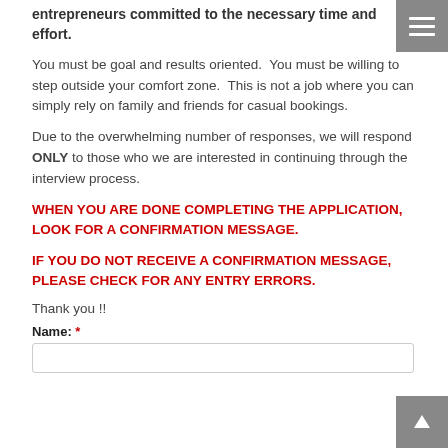entrepreneurs committed to the necessary time and effort.
You must be goal and results oriented.  You must be willing to step outside your comfort zone.  This is not a job where you can simply rely on family and friends for casual bookings.
Due to the overwhelming number of responses, we will respond ONLY to those who we are interested in continuing through the interview process.
WHEN YOU ARE DONE COMPLETING THE APPLICATION, LOOK FOR A CONFIRMATION MESSAGE.
IF YOU DO NOT RECEIVE A CONFIRMATION MESSAGE, PLEASE CHECK FOR ANY ENTRY ERRORS.
Thank you !!
Name: *